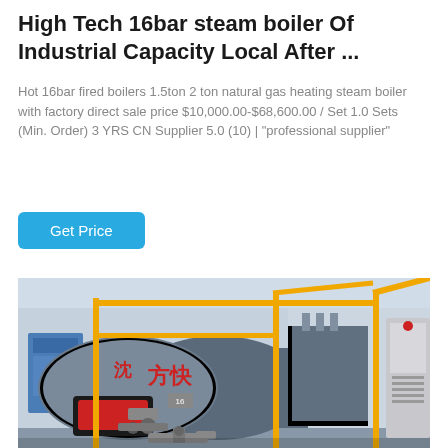High Tech 16bar steam boiler Of Industrial Capacity Local After ...
Hot 16bar fired boilers 1.5ton 2 ton natural gas heating steam boiler with factory direct sale price $10,000.00-$68,600.00 / Set 1.0 Sets (Min. Order) 3 YRS CN Supplier 5.0 (10) | "professional supplier"
Get Price
[Figure (photo): Industrial steam boiler installation showing a large cylindrical blue boiler with Chinese characters (方快), yellow safety railing pipes, red burner components, and control panels in a factory setting.]